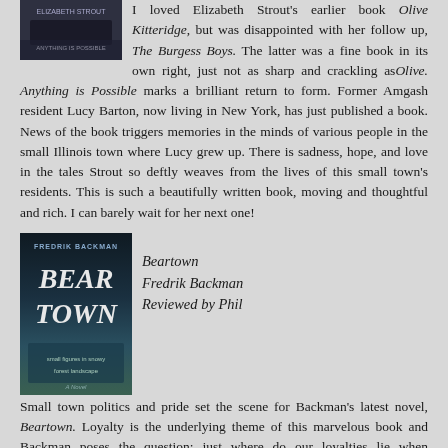[Figure (photo): Book cover image for a dark-toned book, partially visible at top]
I loved Elizabeth Strout's earlier book Olive Kitteridge, but was disappointed with her follow up, The Burgess Boys. The latter was a fine book in its own right, just not as sharp and crackling as Olive. Anything is Possible marks a brilliant return to form. Former Amgash resident Lucy Barton, now living in New York, has just published a book. News of the book triggers memories in the minds of various people in the small Illinois town where Lucy grew up. There is sadness, hope, and love in the tales Strout so deftly weaves from the lives of this small town's residents. This is such a beautifully written book, moving and thoughtful and rich. I can barely wait for her next one!
[Figure (photo): Book cover for Beartown by Fredrik Backman — dark teal/blue tones with large text BEAR TOWN]
Beartown
Fredrik Backman
Reviewed by Phil
Small town politics and pride set the scene for Backman's latest novel, Beartown. Loyalty is the underlying theme of this marvelous book and Backman poses the question: just where do our loyalties lie when everything we believe in is threatened? Beartown is a hockey town: The mood of the residents ebbs and flows with the ups and downs of success of the local hockey team.